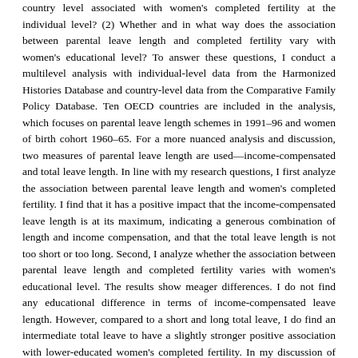country level associated with women's completed fertility at the individual level? (2) Whether and in what way does the association between parental leave length and completed fertility vary with women's educational level? To answer these questions, I conduct a multilevel analysis with individual-level data from the Harmonized Histories Database and country-level data from the Comparative Family Policy Database. Ten OECD countries are included in the analysis, which focuses on parental leave length schemes in 1991–96 and women of birth cohort 1960–65. For a more nuanced analysis and discussion, two measures of parental leave length are used—income-compensated and total leave length. In line with my research questions, I first analyze the association between parental leave length and women's completed fertility. I find that it has a positive impact that the income-compensated leave length is at its maximum, indicating a generous combination of length and income compensation, and that the total leave length is not too short or too long. Second, I analyze whether the association between parental leave length and completed fertility varies with women's educational level. The results show meager differences. I do not find any educational difference in terms of income-compensated leave length. However, compared to a short and long total leave, I do find an intermediate total leave to have a slightly stronger positive association with lower-educated women's completed fertility. In my discussion of the analysis results, I draw on economic and institutional theory and previous research. Overall, with my contribution, we are one step closer to understanding whether and in what way parental leave is associated with women's final number of children.